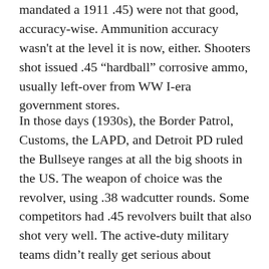mandated a 1911 .45) were not that good, accuracy-wise. Ammunition accuracy wasn't at the level it is now, either. Shooters shot issued .45 “hardball” corrosive ammo, usually left-over from WW I-era government stores.
In those days (1930s), the Border Patrol, Customs, the LAPD, and Detroit PD ruled the Bullseye ranges at all the big shoots in the US. The weapon of choice was the revolver, using .38 wadcutter rounds. Some competitors had .45 revolvers built that also shot very well. The active-duty military teams didn’t really get serious about marksmanship competition until